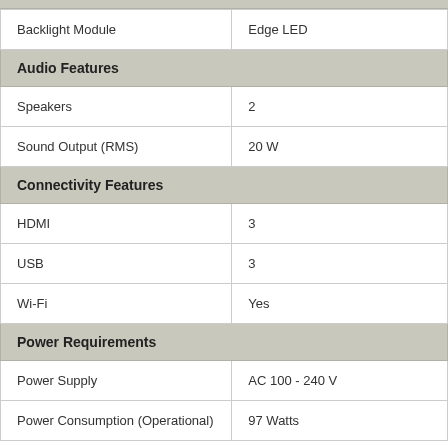| Feature | Value |
| --- | --- |
| Backlight Module | Edge LED |
| Audio Features |  |
| Speakers | 2 |
| Sound Output (RMS) | 20 W |
| Connectivity Features |  |
| HDMI | 3 |
| USB | 3 |
| Wi-Fi | Yes |
| Power Requirements |  |
| Power Supply | AC 100 - 240 V |
| Power Consumption (Operational) | 97 Watts |